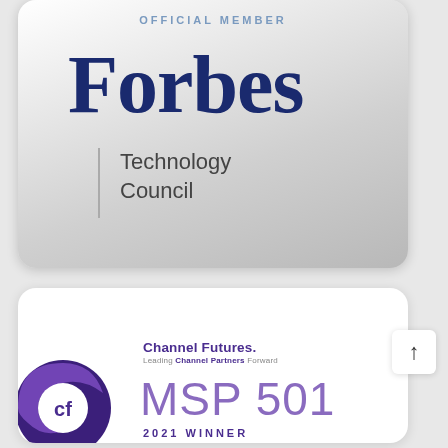[Figure (logo): Forbes Technology Council Official Member badge. Silver gradient card with 'OFFICIAL MEMBER' text at top, large 'Forbes' logo in dark navy, vertical divider line, and 'Technology Council' subtitle.]
[Figure (logo): Channel Futures MSP 501 2021 Winner badge. White card with Channel Futures logo (purple CF circle icon), 'Channel Futures. Leading Channel Partners Forward' tagline, and 'MSP 501' in large purple text with '2021 WINNER' below.]